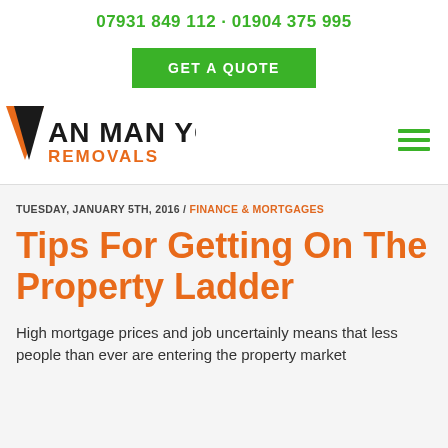07931 849 112 · 01904 375 995
GET A QUOTE
[Figure (logo): Van Man York Removals logo with orange V shape and bold black text]
TUESDAY, JANUARY 5TH, 2016 / FINANCE & MORTGAGES
Tips For Getting On The Property Ladder
High mortgage prices and job uncertainly means that less people than ever are entering the property market